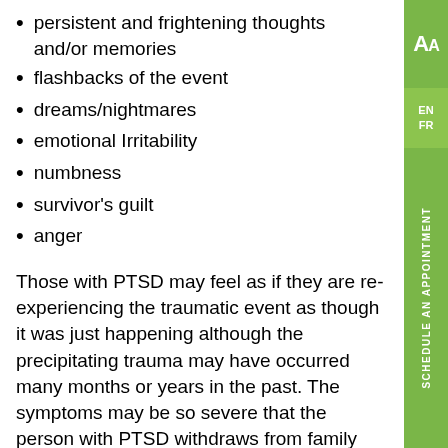persistent and frightening thoughts and/or memories
flashbacks of the event
dreams/nightmares
emotional Irritability
numbness
survivor's guilt
anger
Those with PTSD may feel as if they are re-experiencing the traumatic event as though it was just happening although the precipitating trauma may have occurred many months or years in the past. The symptoms may be so severe that the person with PTSD withdraws from family and friends and may be unable to work or attend school.
Trauma therapists at TCG have up-to-date training and utilize a wide range of therapeutic techniques. They can help clients process their experience, develop strategies and resources to eliminate